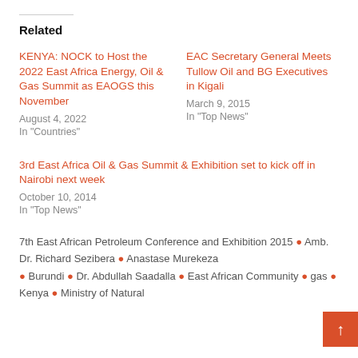Related
KENYA: NOCK to Host the 2022 East Africa Energy, Oil & Gas Summit as EAOGS this November
August 4, 2022
In "Countries"
EAC Secretary General Meets Tullow Oil and BG Executives in Kigali
March 9, 2015
In "Top News"
3rd East Africa Oil & Gas Summit & Exhibition set to kick off in Nairobi next week
October 10, 2014
In "Top News"
7th East African Petroleum Conference and Exhibition 2015 • Amb. Dr. Richard Sezibera • Anastase Murekeze • Burundi • Dr. Abdullah Saadalla • East African Community • gas • Kenya • Ministry of Natural